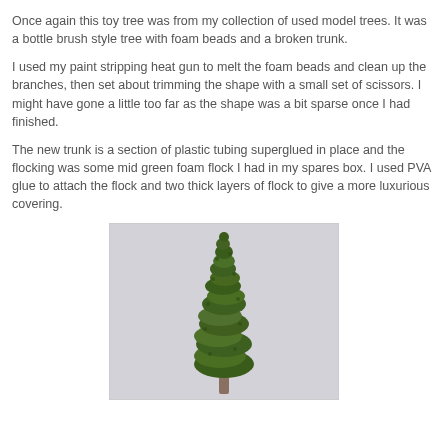Once again this toy tree was from my collection of used model trees. It was a bottle brush style tree with foam beads and a broken trunk.
I used my paint stripping heat gun to melt the foam beads and clean up the branches, then set about trimming the shape with a small set of scissors. I might have gone a little too far as the shape was a bit sparse once I had finished.
The new trunk is a section of plastic tubing superglued in place and the flocking was some mid green foam flock I had in my spares box. I used PVA glue to attach the flock and two thick layers of flock to give a more luxurious covering.
[Figure (photo): A model tree with green foam flock covering, tall and narrow, set against a light grey background.]